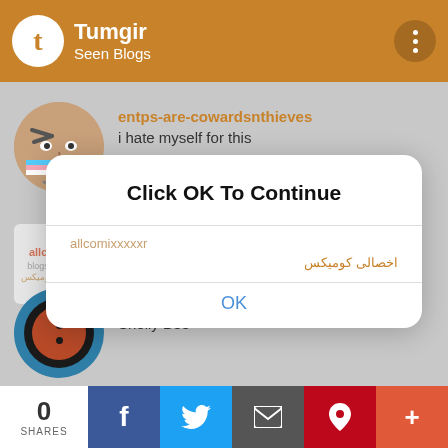Tumgir · Seen Blogs
entps-are-cowardsnthieves
i hate myself for this
allcomixxxxxr
اخصالی کومیکس
[Figure (screenshot): Modal dialog popup with title 'Click OK To Continue', content showing 'allcomixxxxxr' and Arabic text 'اخصالی کومیکس', and an OK button]
y4ngjunie
Shelly Bee
0 SHARES | Facebook | Twitter | Email | Pinterest | More